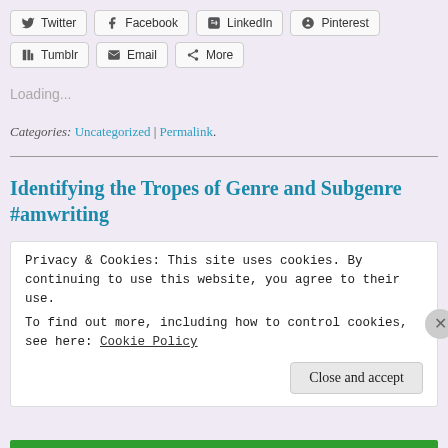Twitter | Facebook | LinkedIn | Pinterest | Tumblr | Email | More
Loading...
Categories: Uncategorized | Permalink.
Identifying the Tropes of Genre and Subgenre #amwriting
Privacy & Cookies: This site uses cookies. By continuing to use this website, you agree to their use.
To find out more, including how to control cookies, see here: Cookie Policy
Close and accept